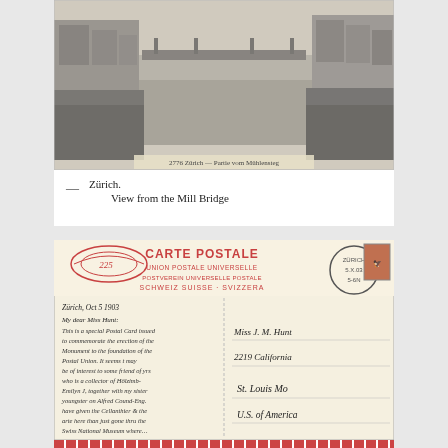[Figure (photo): Black and white photograph of Zürich showing a canal or river view from the Mill Bridge, with buildings on both sides and a bridge in the background. Caption text at bottom reads '2776 Zürich — Partie vom Mühlensteg']
— Zürich.
View from the Mill Bridge
[Figure (photo): Vintage Swiss postcard (Carte Postale / Union Postale Universelle) with handwritten message on the left side addressed to Miss J.M. Hunt, 2219 California, St. Louis Mo, U.S. of America. Postmarked Zürich, Oct 5 1903. The card has decorative red printing at top and ornamental border at bottom.]